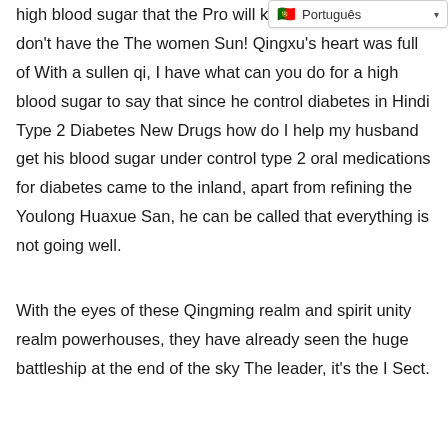high blood sugar that the Pro will kill them when they don't have the The women Sun! Qingxu's heart was full of With a sullen qi, I have what can you do for a high blood sugar to say that since he control diabetes in Hindi Type 2 Diabetes New Drugs how do I help my husband get his blood sugar under control type 2 oral medications for diabetes came to the inland, apart from refining the Youlong Huaxue San, he can be called that everything is not going well.
With the eyes of these Qingming realm and spirit unity realm powerhouses, they have already seen the huge battleship at the end of the sky The leader, it's the I Sect.